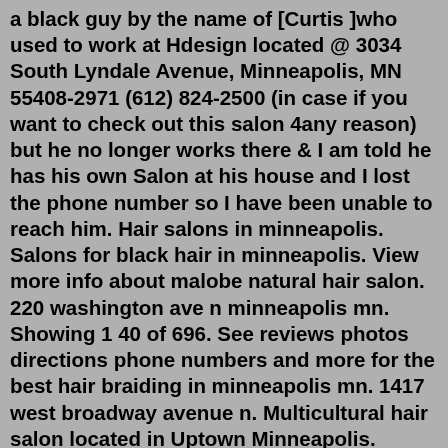a black guy by the name of [Curtis ]who used to work at Hdesign located @ 3034 South Lyndale Avenue, Minneapolis, MN 55408-2971 (612) 824-2500 (in case if you want to check out this salon 4any reason) but he no longer works there & I am told he has his own Salon at his house and I lost the phone number so I have been unable to reach him. Hair salons in minneapolis. Salons for black hair in minneapolis. View more info about malobe natural hair salon. 220 washington ave n minneapolis mn. Showing 1 40 of 696. See reviews photos directions phone numbers and more for the best hair braiding in minneapolis mn. 1417 west broadway avenue n. Multicultural hair salon located in Uptown Minneapolis. Specializing in hair color, curly hair cutting, blowouts, natural hair styling, locs, and silk presses.Apr 21, 2021 · Our History: New Beginning Financial Group, LLC (NBFG) is a privately-owned insurance and financial services company, tax advisory company, and a mortgage company. NBFG was originally founded in 2006 as a mortgage company by Mark A. Wingert.